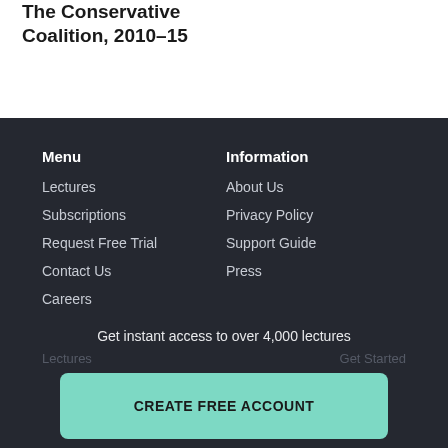The Conservative Coalition, 2010–15
Menu
Lectures
Subscriptions
Request Free Trial
Contact Us
Careers
Information
About Us
Privacy Policy
Support Guide
Press
Get instant access to over 4,000 lectures
CREATE FREE ACCOUNT